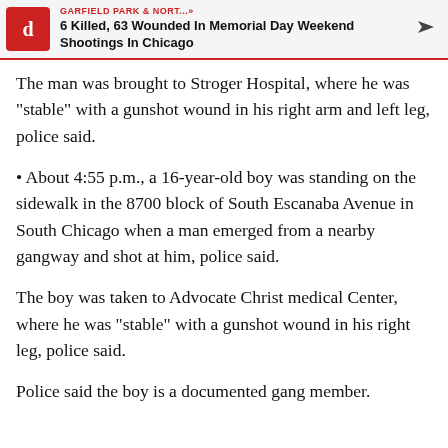GARFIELD PARK & NORT...» 6 Killed, 63 Wounded In Memorial Day Weekend Shootings In Chicago
The man was brought to Stroger Hospital, where he was "stable" with a gunshot wound in his right arm and left leg, police said.
• About 4:55 p.m., a 16-year-old boy was standing on the sidewalk in the 8700 block of South Escanaba Avenue in South Chicago when a man emerged from a nearby gangway and shot at him, police said.
The boy was taken to Advocate Christ medical Center, where he was "stable" with a gunshot wound in his right leg, police said.
Police said the boy is a documented gang member.